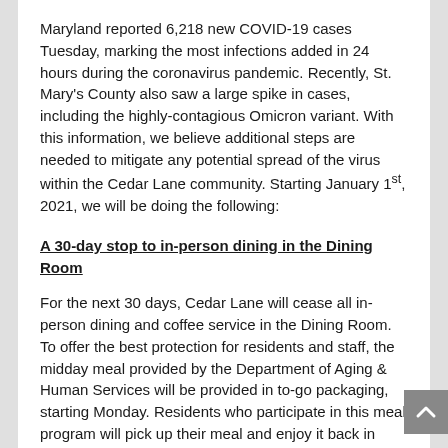Maryland reported 6,218 new COVID-19 cases Tuesday, marking the most infections added in 24 hours during the coronavirus pandemic. Recently, St. Mary's County also saw a large spike in cases, including the highly-contagious Omicron variant. With this information, we believe additional steps are needed to mitigate any potential spread of the virus within the Cedar Lane community. Starting January 1st, 2021, we will be doing the following:
A 30-day stop to in-person dining in the Dining Room
For the next 30 days, Cedar Lane will cease all in-person dining and coffee service in the Dining Room. To offer the best protection for residents and staff, the midday meal provided by the Department of Aging & Human Services will be provided in to-go packaging, starting Monday. Residents who participate in this meal program will pick up their meal and enjoy it back in their apartments. At the end of 30 days, we will reevaluate the situation and tentatively return to normal services on February 1st if it is safe to do so.